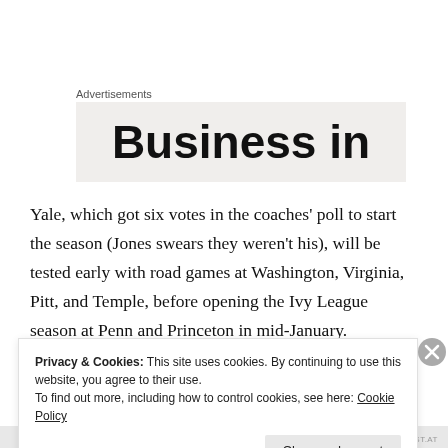Advertisements
[Figure (other): Advertisement banner showing 'Business in' text on a light grey background]
Yale, which got six votes in the coaches’ poll to start the season (Jones swears they weren’t his), will be tested early with road games at Washington, Virginia, Pitt, and Temple, before opening the Ivy League season at Penn and Princeton in mid-January.
Privacy & Cookies: This site uses cookies. By continuing to use this website, you agree to their use.
To find out more, including how to control cookies, see here: Cookie Policy